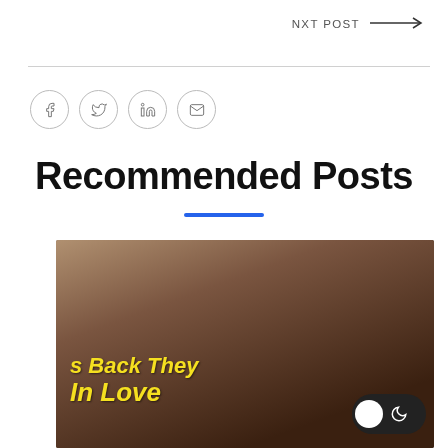NXT POST →
[Figure (other): Four social sharing icons in circles: Facebook (f), Twitter (bird), LinkedIn (in), Email (envelope)]
Recommended Posts
[Figure (photo): Promotional image showing a man and text partially visible reading 's Back They' and 'In Love' in yellow bold italic font, with a dark mode toggle button in the bottom right corner]